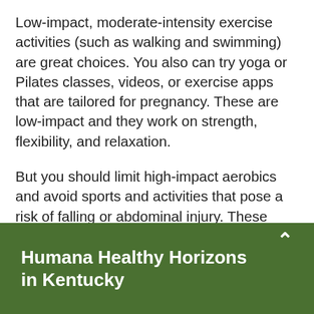Low-impact, moderate-intensity exercise activities (such as walking and swimming) are great choices. You also can try yoga or Pilates classes, videos, or exercise apps that are tailored for pregnancy. These are low-impact and they work on strength, flexibility, and relaxation.
But you should limit high-impact aerobics and avoid sports and activities that pose a risk of falling or abdominal injury. These include contact sports, downhill skiing, scuba diving, and horseback riding.
It's also important to be aware of how your body
Humana Healthy Horizons in Kentucky